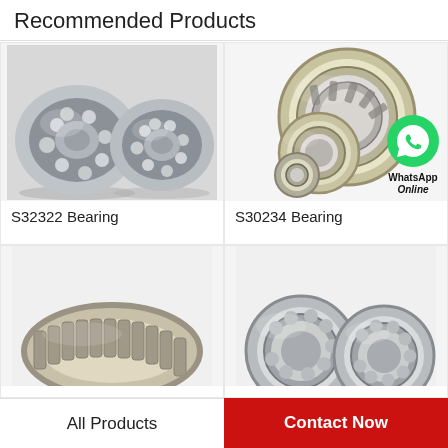Recommended Products
[Figure (photo): Two stainless steel self-aligning ball bearings (S32322 Bearing) on a gray background]
S32322 Bearing
[Figure (photo): Three stainless steel cylindrical/tapered roller bearings (S30234 Bearing) on a white background, with a WhatsApp Online badge overlay]
S30234 Bearing
[Figure (photo): Partial image of a needle roller bearing on a white background]
[Figure (photo): Partial image of two stainless steel deep groove ball bearings on a white background]
All Products
Contact Now